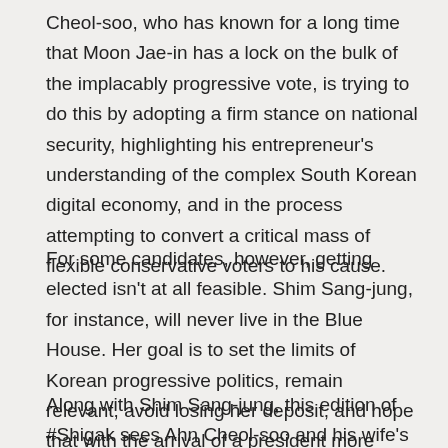Cheol-soo, who has known for a long time that Moon Jae-in has a lock on the bulk of the implacably progressive vote, is trying to do this by adopting a firm stance on national security, highlighting his entrepreneur's understanding of the complex South Korean digital economy, and in the process attempting to convert a critical mass of flexible conservative voters to his cause.
For some candidates, however, getting elected isn't at all feasible. Shim Sang-jung, for instance, will never live in the Blue House. Her goal is to set the limits of Korean progressive politics, remain relevant, avoid losing her deposit, and hope that with the arrival of a president more accommodating of her political views, some of her defining policies will make it onto the statute in one form or another.
Along with Shim Sang-jung, this edition of #Shigak sees Ahn Cheol-soo and his wife's employment record come under the